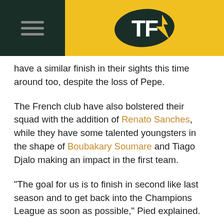TF (logo)
have a similar finish in their sights this time around too, despite the loss of Pepe.
The French club have also bolstered their squad with the addition of Renato Sanches, while they have some talented youngsters in the shape of Boubakary Soumare and Tiago Djalo making an impact in the first team.
"The goal for us is to finish in second like last season and to get back into the Champions League as soon as possible," Pied explained.
"But the most important thing is that we won the last three games, so we have to keep the same attitude and commitment to push and keep going like that."